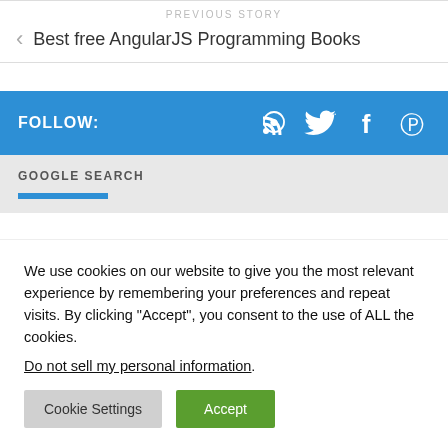PREVIOUS STORY
Best free AngularJS Programming Books
FOLLOW:
GOOGLE SEARCH
We use cookies on our website to give you the most relevant experience by remembering your preferences and repeat visits. By clicking “Accept”, you consent to the use of ALL the cookies.
Do not sell my personal information.
Cookie Settings
Accept